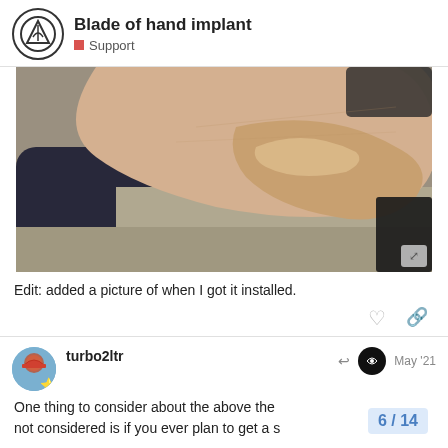Blade of hand implant — Support
[Figure (photo): Close-up photo of a hand showing a subcutaneous implant under the skin, creating a visible ridge. Background shows carpet and dark objects.]
Edit: added a picture of when I got it installed.
turbo2ltr — May '21
One thing to consider about the above the not considered is if you ever plan to get a s
6 / 14